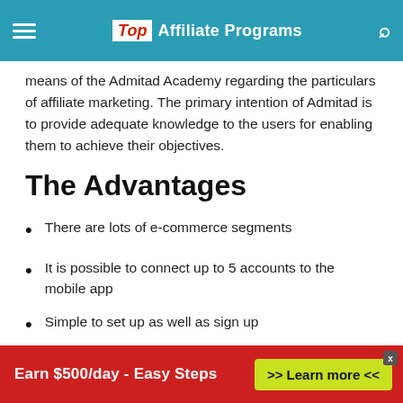Top Affiliate Programs
means of the Admitad Academy regarding the particulars of affiliate marketing. The primary intention of Admitad is to provide adequate knowledge to the users for enabling them to achieve their objectives.
The Advantages
There are lots of e-commerce segments
It is possible to connect up to 5 accounts to the mobile app
Simple to set up as well as sign up
A minimum payout threshold of $20 which is easy to reach
Earn $500/day - Easy Steps >> Learn more <<